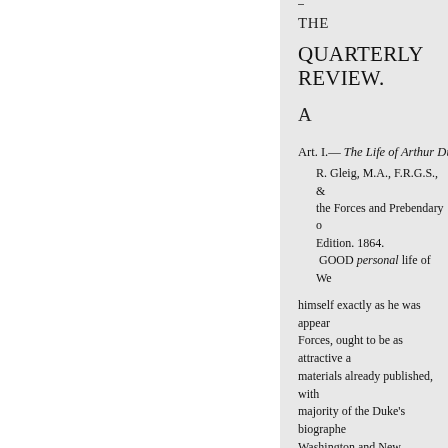–
THE
QUARTERLY REVIEW.
A
Art. I.— The Life of Arthur Duke
R. Gleig, M.A., F.R.G.S., &c. the Forces and Prebendary o Edition. 1864.
GOOD personal life of We
himself exactly as he was appear Forces, ought to be as attractive a materials already published, with majority of the Duke's biographe Washington and New Orleans, an a divineMr. Gleig might be expe And his heart was surely in his ta of becoming, sooner or later, the far as to open the subject to his C wisdom, mixed with great kind